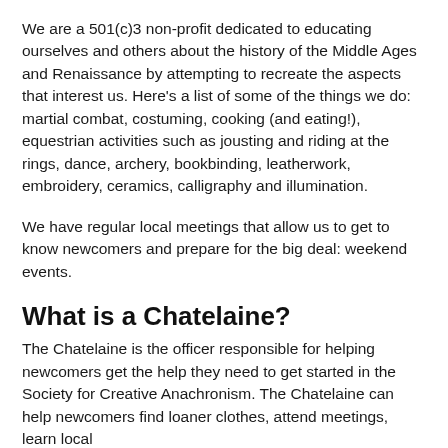We are a 501(c)3 non-profit dedicated to educating ourselves and others about the history of the Middle Ages and Renaissance by attempting to recreate the aspects that interest us. Here's a list of some of the things we do: martial combat, costuming, cooking (and eating!), equestrian activities such as jousting and riding at the rings, dance, archery, bookbinding, leatherwork, embroidery, ceramics, calligraphy and illumination.
We have regular local meetings that allow us to get to know newcomers and prepare for the big deal: weekend events.
What is a Chatelaine?
The Chatelaine is the officer responsible for helping newcomers get the help they need to get started in the Society for Creative Anachronism. The Chatelaine can help newcomers find loaner clothes, attend meetings, learn local